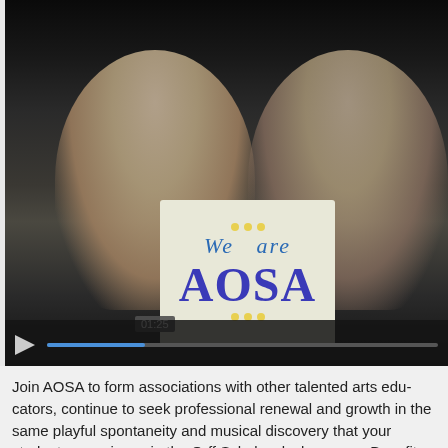[Figure (screenshot): Video player screenshot showing two smiling women, one holding a sign that reads 'We are AOSA'. The video shows a timestamp tooltip of 01:25 and a play button with a progress bar at the bottom of the player.]
Join AOSA to form associations with other talented arts edu... continue to seek professional renewal and growth in the sa... playful spontaneity and musical discovery that your studen... in the Orff Schulwerk classroom. Benefits of membership m...